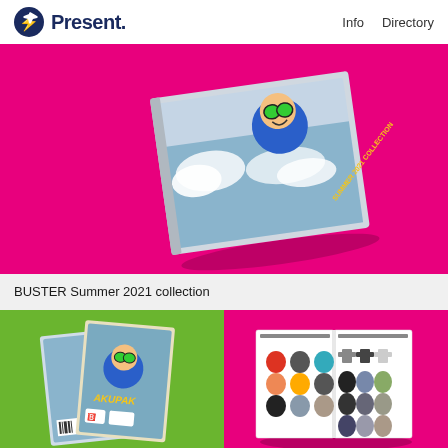Present. | Info | Directory
[Figure (photo): Book/catalog mockup on pink background showing BUSTER Summer 2021 collection cover with animated character]
BUSTER Summer 2021 collection
[Figure (photo): Two card/flyer mockups on green background showing BUSTER branding]
[Figure (photo): Open catalog spread on pink background showing hoodie product lineup in various colors]